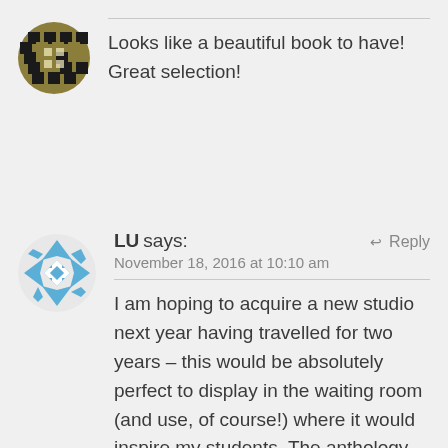[Figure (illustration): Avatar icon with dark olive/gold geometric pattern on circular background]
Looks like a beautiful book to have! Great selection!
[Figure (illustration): Avatar icon with blue and white geometric/diamond pattern on circular white background]
LU says:
November 18, 2016 at 10:10 am
I am hoping to acquire a new studio next year having travelled for two years – this would be absolutely perfect to display in the waiting room (and use, of course!) where it would inspire my students. The anthology appears to be beautifully laid out, and the fact that it features